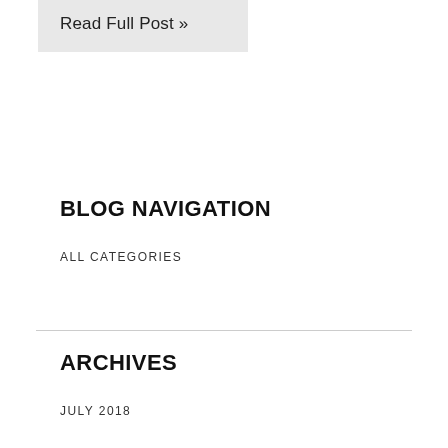Read Full Post »
BLOG NAVIGATION
ALL CATEGORIES
ARCHIVES
JULY 2018